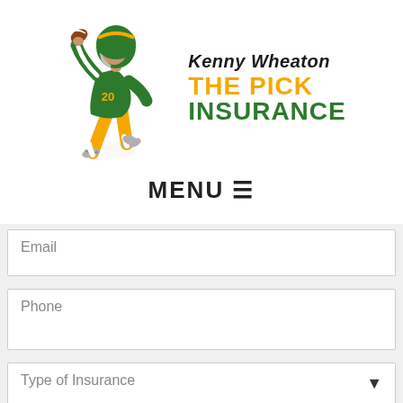[Figure (logo): Kenny Wheaton The Pick Insurance logo featuring a football player in green and yellow uniform (#20) catching a ball, with bold text 'Kenny Wheaton' in italic black and 'THE PICK' in yellow and 'INSURANCE' in green.]
MENU ☰
Email
Phone
Type of Insurance